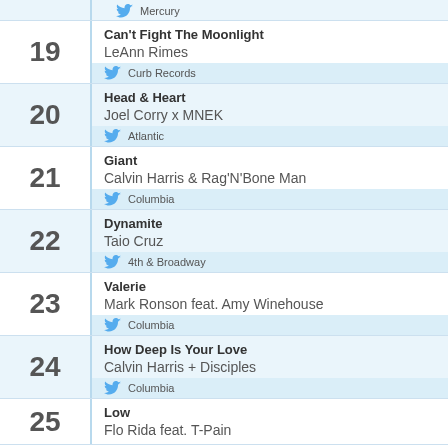19 - Can't Fight The Moonlight - LeAnn Rimes - Curb Records
20 - Head & Heart - Joel Corry x MNEK - Atlantic
21 - Giant - Calvin Harris & Rag'N'Bone Man - Columbia
22 - Dynamite - Taio Cruz - 4th & Broadway
23 - Valerie - Mark Ronson feat. Amy Winehouse - Columbia
24 - How Deep Is Your Love - Calvin Harris + Disciples - Columbia
25 - Low - Flo Rida feat. T-Pain